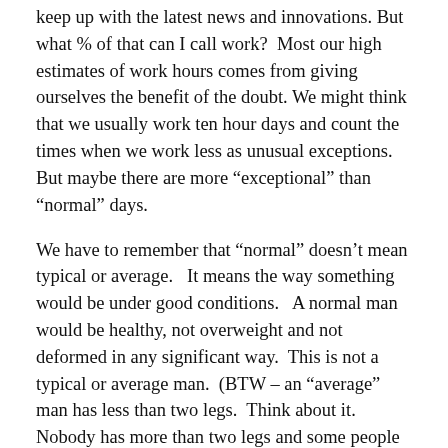keep up with the latest news and innovations. But what % of that can I call work?  Most our high estimates of work hours comes from giving ourselves the benefit of the doubt. We might think that we usually work ten hour days and count the times when we work less as unusual exceptions.   But maybe there are more “exceptional” than “normal” days.
We have to remember that “normal” doesn’t mean typical or average.   It means the way something would be under good conditions.   A normal man would be healthy, not overweight and not deformed in any significant way.  This is not a typical or average man.  (BTW – an “average” man has less than two legs.  Think about it.  Nobody has more than two legs and some people have less, so the average is less than two.  Statistics can be interesting.)  IN that respect a normal day might be one where you worked through the day w/o important interruptions arriving and leaving on time.